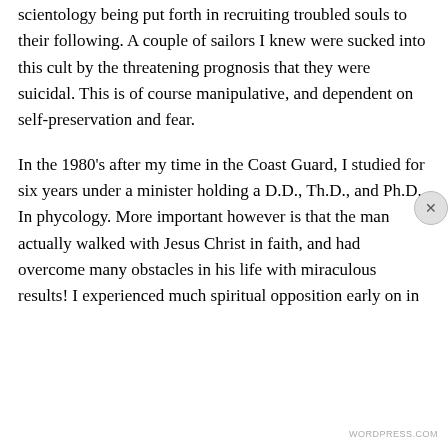scientology being put forth in recruiting troubled souls to their following. A couple of sailors I knew were sucked into this cult by the threatening prognosis that they were suicidal. This is of course manipulative, and dependent on self-preservation and fear.
In the 1980's after my time in the Coast Guard, I studied for six years under a minister holding a D.D., Th.D., and Ph.D. In phycology. More important however is that the man actually walked with Jesus Christ in faith, and had overcome many obstacles in his life with miraculous results! I experienced much spiritual opposition early on in
Privacy & Cookies: This site uses cookies. By continuing to use this website, you agree to their use.
To find out more, including how to control cookies, see here: Cookie Policy
Close and accept